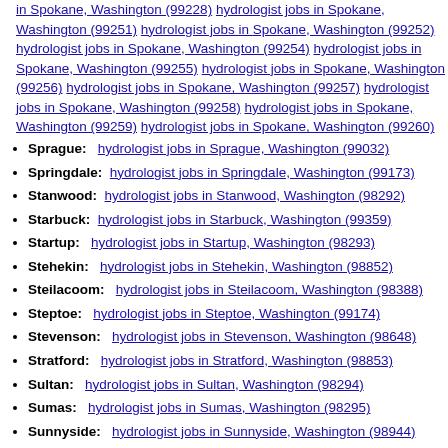in Spokane, Washington (99228) hydrologist jobs in Spokane, Washington (99251) hydrologist jobs in Spokane, Washington (99252) hydrologist jobs in Spokane, Washington (99254) hydrologist jobs in Spokane, Washington (99255) hydrologist jobs in Spokane, Washington (99256) hydrologist jobs in Spokane, Washington (99257) hydrologist jobs in Spokane, Washington (99258) hydrologist jobs in Spokane, Washington (99259) hydrologist jobs in Spokane, Washington (99260)
Sprague: hydrologist jobs in Sprague, Washington (99032)
Springdale: hydrologist jobs in Springdale, Washington (99173)
Stanwood: hydrologist jobs in Stanwood, Washington (98292)
Starbuck: hydrologist jobs in Starbuck, Washington (99359)
Startup: hydrologist jobs in Startup, Washington (98293)
Stehekin: hydrologist jobs in Stehekin, Washington (98852)
Steilacoom: hydrologist jobs in Steilacoom, Washington (98388)
Steptoe: hydrologist jobs in Steptoe, Washington (99174)
Stevenson: hydrologist jobs in Stevenson, Washington (98648)
Stratford: hydrologist jobs in Stratford, Washington (98853)
Sultan: hydrologist jobs in Sultan, Washington (98294)
Sumas: hydrologist jobs in Sumas, Washington (98295)
Sunnyside: hydrologist jobs in Sunnyside, Washington (98944)
Suquamish: hydrologist jobs in Suquamish, Washington (98392)
Tacoma: hydrologist jobs in Tacoma, Washington (98397) hydrologist jobs in Tacoma, Washington (98398) hydrologist jobs in Tacoma, Washington (98401) hydrologist jobs in Tacoma, Washington (98402) hydrologist jobs in Tacoma, Washington (98403) hydrologist jobs in Tacoma, Washington (98404) hydrologist jobs in Tacoma, Washington (continued)